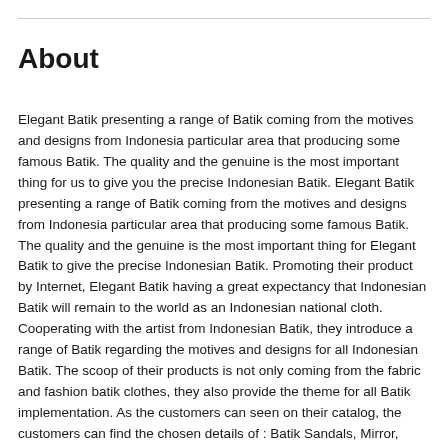About
Elegant Batik presenting a range of Batik coming from the motives and designs from Indonesia particular area that producing some famous Batik. The quality and the genuine is the most important thing for us to give you the precise Indonesian Batik. Elegant Batik presenting a range of Batik coming from the motives and designs from Indonesia particular area that producing some famous Batik. The quality and the genuine is the most important thing for Elegant Batik to give the precise Indonesian Batik. Promoting their product by Internet, Elegant Batik having a great expectancy that Indonesian Batik will remain to the world as an Indonesian national cloth. Cooperating with the artist from Indonesian Batik, they introduce a range of Batik regarding the motives and designs for all Indonesian Batik. The scoop of their products is not only coming from the fabric and fashion batik clothes, they also provide the theme for all Batik implementation. As the customers can seen on their catalog, the customers can find the chosen details of : Batik Sandals, Mirror, Batik bedsheet, Batik curtains, Sajadah, and